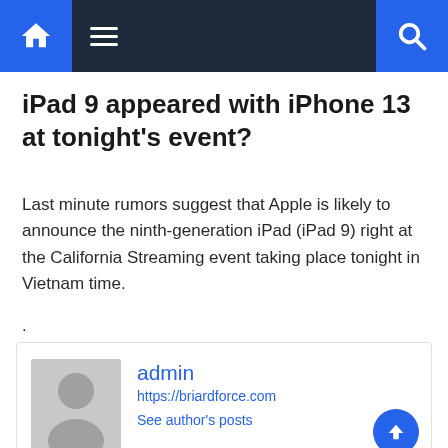Navigation bar with home icon, hamburger menu, and search icon
iPad 9 appeared with iPhone 13 at tonight's event?
Last minute rumors suggest that Apple is likely to announce the ninth-generation iPad (iPad 9) right at the California Streaming event taking place tonight in Vietnam time.
.
admin
https://briardforce.com
See author's posts